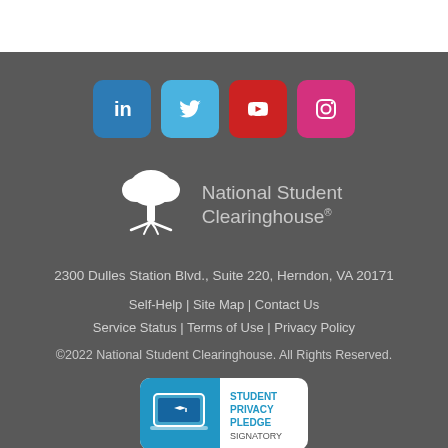[Figure (infographic): Four social media icon buttons in a row: LinkedIn (blue), Twitter (light blue), YouTube (red), Instagram (pink/magenta), each with rounded corners]
[Figure (logo): National Student Clearinghouse logo: white tree illustration on the left, text 'National Student Clearinghouse' in grey on the right]
2300 Dulles Station Blvd., Suite 220, Herndon, VA 20171
Self-Help | Site Map | Contact Us
Service Status | Terms of Use | Privacy Policy
©2022 National Student Clearinghouse. All Rights Reserved.
[Figure (logo): Student Privacy Pledge Signatory badge with blue background, laptop/graduation cap icon, and text 'STUDENT PRIVACY PLEDGE SIGNATORY']